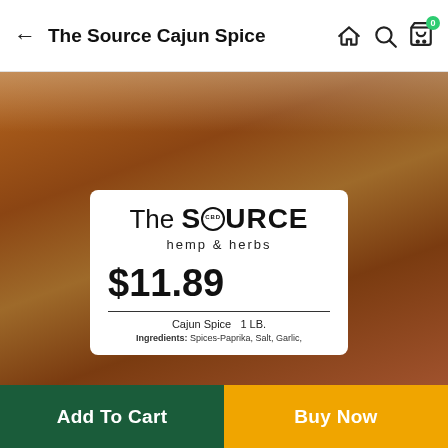The Source Cajun Spice
[Figure (photo): A sealed plastic bag filled with brown/red Cajun spice blend, showing a white product label with 'The Source CBD hemp & herbs' branding, price $11.89, product name Cajun Spice 1 LB., and ingredients: Spices-Paprika, Salt, Garlic.]
Add To Cart
Buy Now